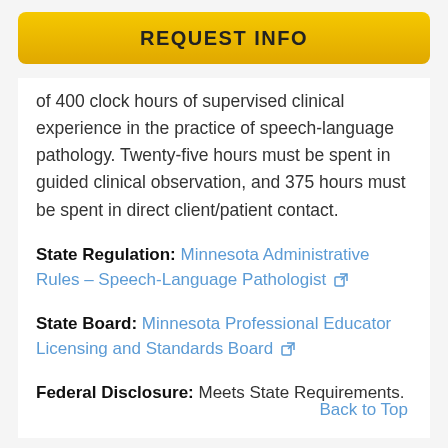REQUEST INFO
of 400 clock hours of supervised clinical experience in the practice of speech-language pathology. Twenty-five hours must be spent in guided clinical observation, and 375 hours must be spent in direct client/patient contact.
State Regulation: Minnesota Administrative Rules – Speech-Language Pathologist [external link]
State Board: Minnesota Professional Educator Licensing and Standards Board [external link]
Federal Disclosure: Meets State Requirements.
Back to Top